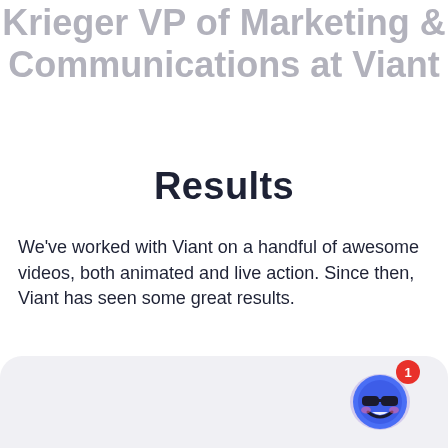Krieger VP of Marketing & Communications at Viant
Results
We've worked with Viant on a handful of awesome videos, both animated and live action. Since then, Viant has seen some great results.
For example, the video ads we made promoting a
[Figure (illustration): Chat bot icon — a blue cartoon face with sunglasses and a red notification badge showing the number 1]